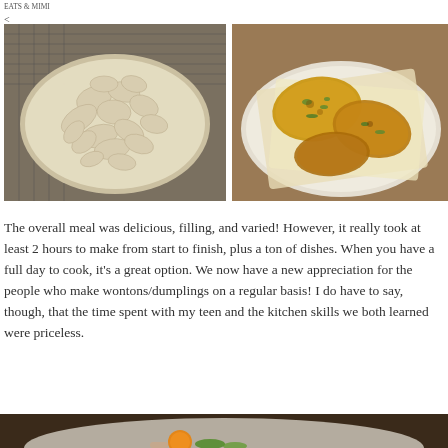EATS & MIMI
<
[Figure (photo): Overhead view of uncooked wontons/dumplings arranged on parchment paper on a round baking pan on a wire rack]
[Figure (photo): Plate of cooked pan-fried dumplings/scallion pancakes on parchment paper, golden brown with green herbs]
The overall meal was delicious, filling, and varied! However, it really took at least 2 hours to make from start to finish, plus a ton of dishes. When you have a full day to cook, it’s a great option. We now have a new appreciation for the people who make wontons/dumplings on a regular basis! I do have to say, though, that the time spent with my teen and the kitchen skills we both learned were priceless.
[Figure (photo): Partial view of a plate with food including what appears to be a mandarin orange and greens, held by hand]